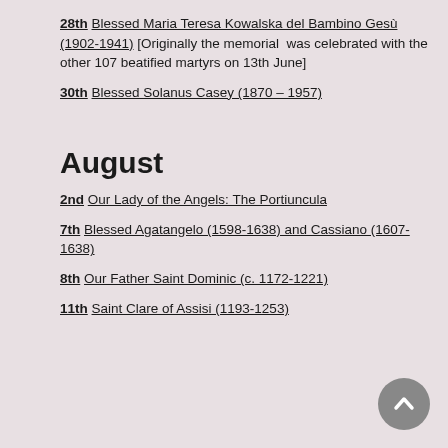28th Blessed Maria Teresa Kowalska del Bambino Gesù (1902-1941) [Originally the memorial  was celebrated with the other 107 beatified martyrs on 13th June]
30th Blessed Solanus Casey (1870 – 1957)
August
2nd Our Lady of the Angels: The Portiuncula
7th Blessed Agatangelo (1598-1638) and Cassiano (1607-1638)
8th Our Father Saint Dominic (c. 1172-1221)
11th Saint Clare of Assisi (1193-1253)